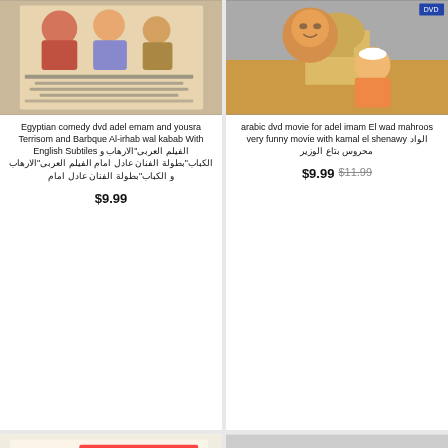[Figure (photo): Egyptian comedy DVD cover - Al irhab wal kabab]
Egyptian comedy dvd adel emam and yousra Terrisom and Barbque Al-irhab wal kabab With English Subtiles الفيلم العربى"الارهاب و الكباب"بطولة الفنان عادل امام الفيلم العربى"الارهاب و الكباب"بطولة الفنان عادل امام
$9.99
[Figure (photo): Arabic DVD movie cover - El wad mahroos]
arabic dvd movie for adel imam El wad mahroos very funny movie with kamal el shenawy الواد محروس بتاع الوزير
$9.99 $11.99
[Figure (photo): Egyptian movie DVD cover - El eyyal kebret]
[Figure (photo): Group photo of graduates in caps and gowns]